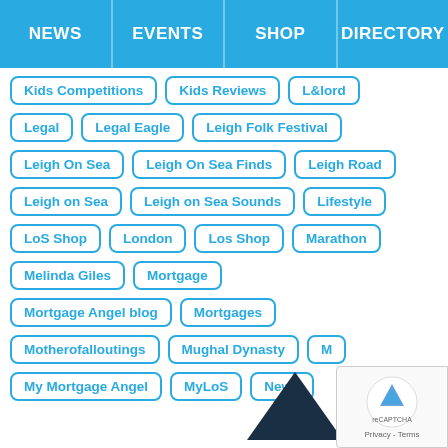NEWS | EVENTS | SHOP | DIRECTORY
Kids Competitions
Kids Reviews
L&lord
Legal
Legal Eagle
Leigh Folk Festival
Leigh On Sea
Leigh On Sea Finds
Leigh Road
Leigh on Sea
Leigh on Sea Sounds
Lifestyle
LoS Shop
London
Los Shop
Marathon
Melinda Giles
Mortgage
Mortgage Angel blog
Mortgages
Motherofalloutings
Mughal Dynasty
M...
My Mortgage Angel
MyLoS
News